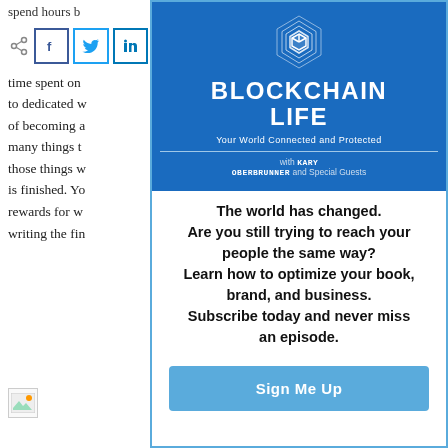spend hours b...
time spent on... to dedicated w... of becoming a... many things t... those things w... is finished. Yo... rewards for w... writing the fi...
[Figure (infographic): Blockchain Life podcast advertisement. Blue box with geometric hexagonal logo, title BLOCKCHAIN LIFE, subtitle 'Your World Connected and Protected', credit 'with Kary Oberbrunner and Special Guests'. Body text: 'The world has changed. Are you still trying to reach your people the same way? Learn how to optimize your book, brand, and business. Subscribe today and never miss an episode.' Blue Sign Me Up button.]